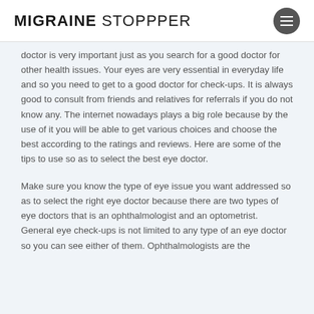MIGRAINE STOPPPER
doctor is very important just as you search for a good doctor for other health issues. Your eyes are very essential in everyday life and so you need to get to a good doctor for check-ups. It is always good to consult from friends and relatives for referrals if you do not know any. The internet nowadays plays a big role because by the use of it you will be able to get various choices and choose the best according to the ratings and reviews. Here are some of the tips to use so as to select the best eye doctor.
Make sure you know the type of eye issue you want addressed so as to select the right eye doctor because there are two types of eye doctors that is an ophthalmologist and an optometrist. General eye check-ups is not limited to any type of an eye doctor so you can see either of them. Ophthalmologists are the